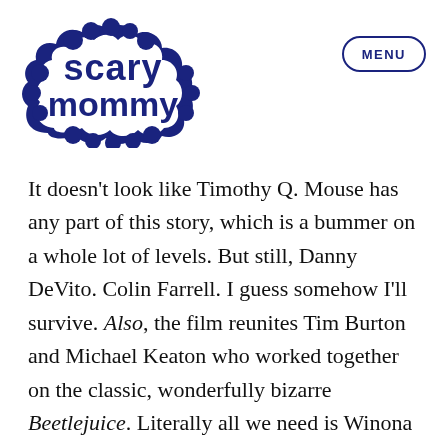[Figure (logo): Scary Mommy logo in navy blue bubble lettering with decorative cloud/bubble outline]
MENU
It doesn’t look like Timothy Q. Mouse has any part of this story, which is a bummer on a whole lot of levels. But still, Danny DeVito. Colin Farrell. I guess somehow I’ll survive. Also, the film reunites Tim Burton and Michael Keaton who worked together on the classic, wonderfully bizarre Beetlejuice. Literally all we need is Winona Ryder singing “Shake Shake Shake Senora” and it would be a full blown reunion.